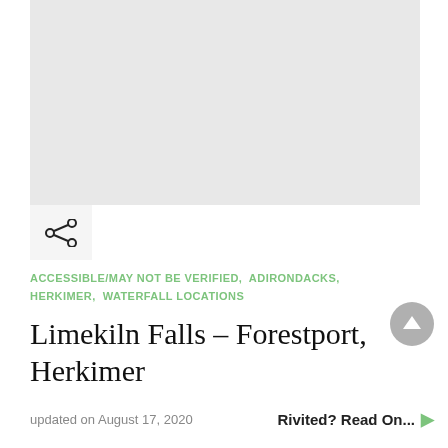[Figure (photo): Large gray placeholder image area for a waterfall photo]
[Figure (other): Share icon (network/social share symbol)]
ACCESSIBLE/MAY NOT BE VERIFIED,  ADIRONDACKS,  HERKIMER,  WATERFALL LOCATIONS
Limekiln Falls – Forestport, Herkimer
updated on August 17, 2020    Rivited? Read On...